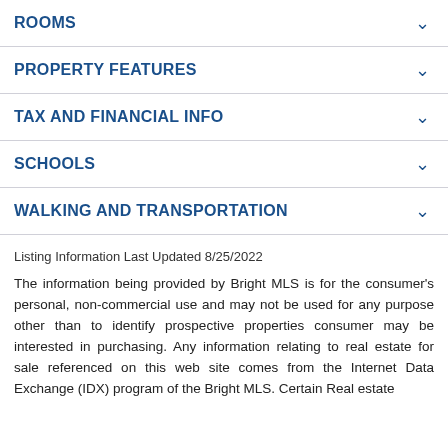ROOMS
PROPERTY FEATURES
TAX AND FINANCIAL INFO
SCHOOLS
WALKING AND TRANSPORTATION
Listing Information Last Updated 8/25/2022
The information being provided by Bright MLS is for the consumer's personal, non-commercial use and may not be used for any purpose other than to identify prospective properties consumer may be interested in purchasing. Any information relating to real estate for sale referenced on this web site comes from the Internet Data Exchange (IDX) program of the Bright MLS. Certain Real estate